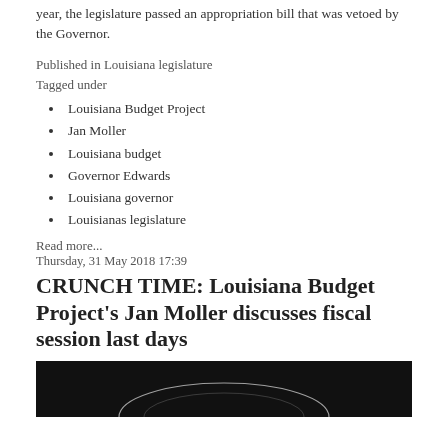year, the legislature passed an appropriation bill that was vetoed by the Governor.
Published in Louisiana legislature
Tagged under
Louisiana Budget Project
Jan Moller
Louisiana budget
Governor Edwards
Louisiana governor
Louisianas legislature
Read more...
Thursday, 31 May 2018 17:39
CRUNCH TIME: Louisiana Budget Project's Jan Moller discusses fiscal session last days
[Figure (photo): Dark/black image, partially visible, showing a curved arc or circular shape in white/light against black background.]